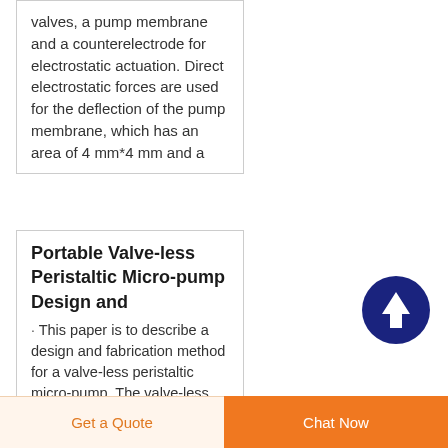valves, a pump membrane and a counterelectrode for electrostatic actuation. Direct electrostatic forces are used for the deflection of the pump membrane, which has an area of 4 mm*4 mm and a
Portable Valve-less Peristaltic Micro-pump Design and
· This paper is to describe a design and fabrication method for a valve-less peristaltic micro-pump. The valve-less peristaltic micro-pump with
[Figure (illustration): Dark navy blue circular scroll-to-top button with a white upward arrow icon]
Get a Quote
Chat Now